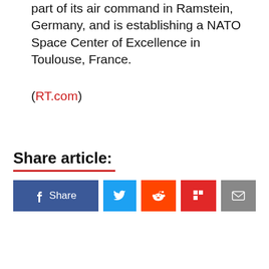part of its air command in Ramstein, Germany, and is establishing a NATO Space Center of Excellence in Toulouse, France.
(RT.com)
Share article:
[Figure (other): Social share buttons: Facebook Share, Twitter, Reddit, Flipboard, Email]